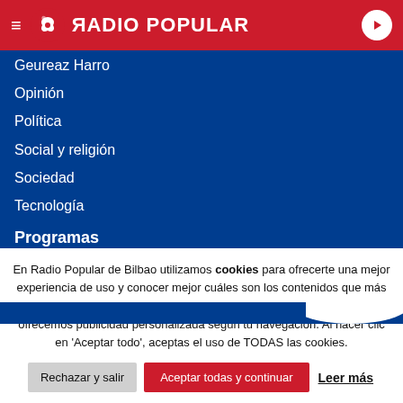ЯADIO POPULAR
Geureaz Harro
Opinión
Política
Social y religión
Sociedad
Tecnología
Programas
EgunOn Bizkaia
EgunOn Magazine
Euskadin Gaur
En Radio Popular de Bilbao utilizamos cookies para ofrecerte una mejor experiencia de uso y conocer mejor cuáles son los contenidos que más os gustan. No hacemos seguimientos que invadan tu privacidad ni ofrecemos publicidad personalizada según tu navegación. Al hacer clic en 'Aceptar todo', aceptas el uso de TODAS las cookies.
Rechazar y salir | Aceptar todas y continuar | Leer más